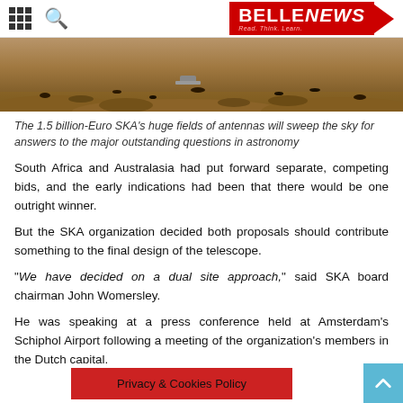BELLENEWS - Read. Think. Learn.
[Figure (photo): Aerial or surface-level photograph of a Mars-like rocky desert landscape, reddish-brown terrain with scattered dark rocks]
The 1.5 billion-Euro SKA's huge fields of antennas will sweep the sky for answers to the major outstanding questions in astronomy
South Africa and Australasia had put forward separate, competing bids, and the early indications had been that there would be one outright winner.
But the SKA organization decided both proposals should contribute something to the final design of the telescope.
“We have decided on a dual site approach,” said SKA board chairman John Womersley.
He was speaking at a press conference held at Amsterdam's Schiphol Airport following a meeting of the organization's members in the Dutch capital.